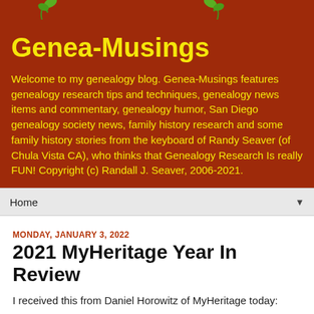[Figure (illustration): Decorative plant/vine illustration at top of banner, with green leaves on dark red background]
Genea-Musings
Welcome to my genealogy blog. Genea-Musings features genealogy research tips and techniques, genealogy news items and commentary, genealogy humor, San Diego genealogy society news, family history research and some family history stories from the keyboard of Randy Seaver (of Chula Vista CA), who thinks that Genealogy Research Is really FUN! Copyright (c) Randall J. Seaver, 2006-2021.
Home ▼
MONDAY, JANUARY 3, 2022
2021 MyHeritage Year In Review
I received this from Daniel Horowitz of MyHeritage today:
=============================================